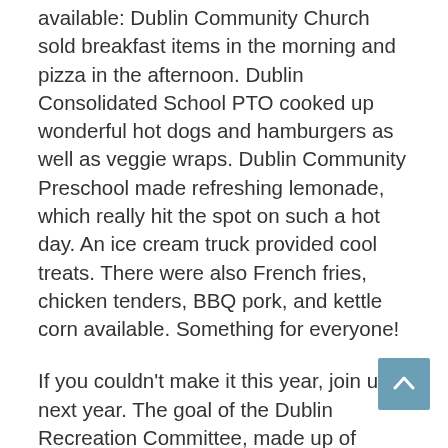available: Dublin Community Church sold breakfast items in the morning and pizza in the afternoon. Dublin Consolidated School PTO cooked up wonderful hot dogs and hamburgers as well as veggie wraps. Dublin Community Preschool made refreshing lemonade, which really hit the spot on such a hot day. An ice cream truck provided cool treats. There were also French fries, chicken tenders, BBQ pork, and kettle corn available. Something for everyone!
If you couldn't make it this year, join us next year. The goal of the Dublin Recreation Committee, made up of volunteers striving to bring the residents of Dublin together, is to provide family fun for everyone (and our events are free). We welcome new members, volunteers and suggestions. Please contact us if you are interested in helping. It's fun and rewarding!
The Dublin Recreation Committee members are Vira Elder,